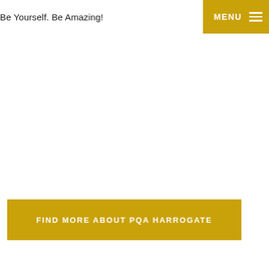Be Yourself. Be Amazing!
FIND MORE ABOUT PQA HARROGATE